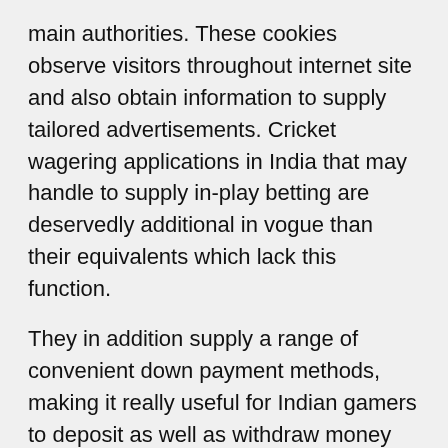main authorities. These cookies observe visitors throughout internet site and also obtain information to supply tailored advertisements. Cricket wagering applications in India that may handle to supply in-play betting are deservedly additional in vogue than their equivalents which lack this function.
They in addition supply a range of convenient down payment methods, making it really useful for Indian gamers to deposit as well as withdraw money on 22Bet. We likewise supply a range of sports games, remain casino sites, online gambling establishments & table computer game. Our on-line casino poker strategy overview will definitely assist you to play casino poker online. On-line banking on cricket is attention-grabbing much more so when a platform supplies beneficial information to the players. The on-line sports tasks betting company uses qualified punters with a